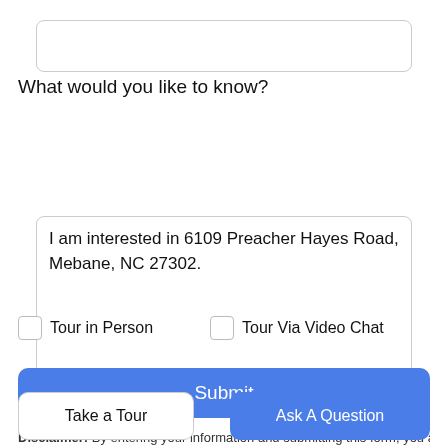[Figure (screenshot): Empty text input field at top of form]
What would you like to know?
I am interested in 6109 Preacher Hayes Road, Mebane, NC 27302.
Tour in Person
Tour Via Video Chat
Submit
Disclaimer: By entering your information and submitting this form, you agree
Take a Tour
Ask A Question